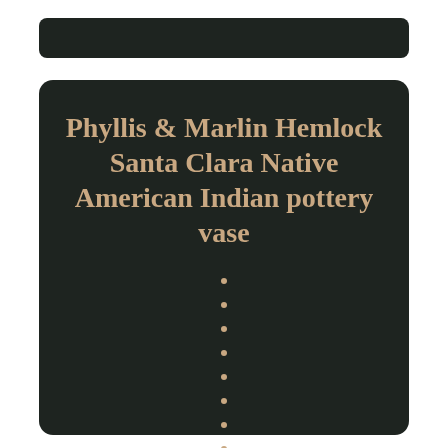Phyllis & Marlin Hemlock Santa Clara Native American Indian pottery vase